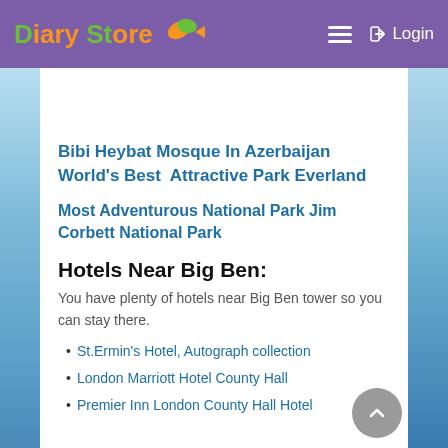Diary Store — Login
Bibi Heybat Mosque In Azerbaijan
World's Best Attractive Park Everland
Most Adventurous National Park Jim Corbett National Park
Hotels Near Big Ben:
You have plenty of hotels near Big Ben tower so you can stay there.
St.Ermin's Hotel, Autograph collection
London Marriott Hotel County Hall
Premier Inn London County Hall Hotel